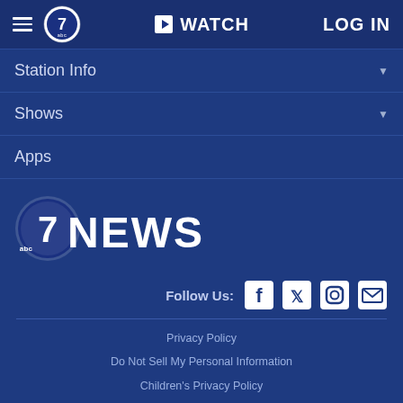WATCH  LOG IN
Station Info
Shows
Apps
[Figure (logo): ABC 7 News logo with large numeral 7 and NEWS text]
Follow Us:
Privacy Policy
Do Not Sell My Personal Information
Children's Privacy Policy
Your California Privacy Rights   Terms of Use
Interest-Based Ads   Public Inspection File
FCC Applications